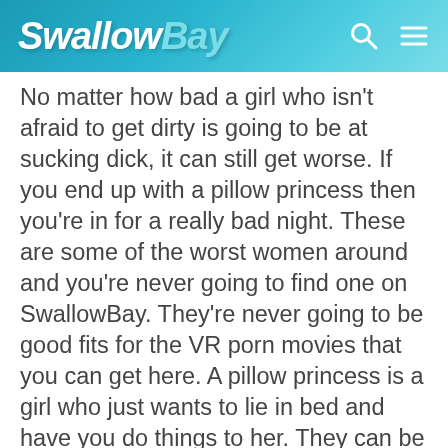SwallowBay
No matter how bad a girl who isn't afraid to get dirty is going to be at sucking dick, it can still get worse. If you end up with a pillow princess then you're in for a really bad night. These are some of the worst women around and you're never going to find one on SwallowBay. They're never going to be good fits for the VR porn movies that you can get here. A pillow princess is a girl who just wants to lie in bed and have you do things to her. They can be kinky things or they can be vanilla things, but they're never going to be reciprocated.